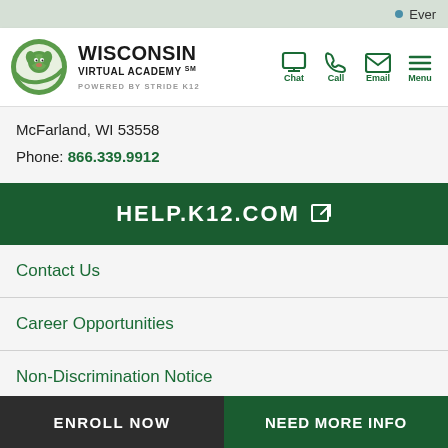Ever
[Figure (logo): Wisconsin Virtual Academy logo with green circular mascot icon, text 'WISCONSIN VIRTUAL ACADEMY' and 'POWERED BY STRIDE K12']
McFarland, WI 53558
Phone: 866.339.9912
HELP.K12.COM
Contact Us
Career Opportunities
Non-Discrimination Notice
Privacy Policy
ENROLL NOW
NEED MORE INFO